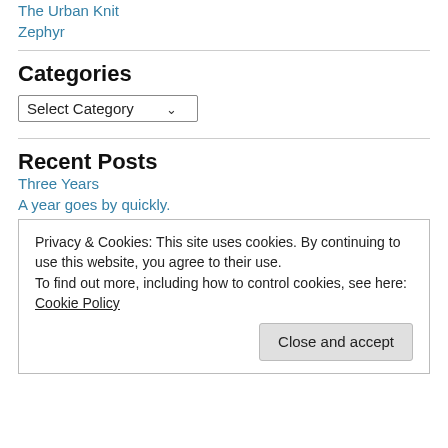The Urban Knit
Zephyr
Categories
Select Category
Recent Posts
Three Years
A year goes by quickly.
Privacy & Cookies: This site uses cookies. By continuing to use this website, you agree to their use.
To find out more, including how to control cookies, see here: Cookie Policy
Close and accept